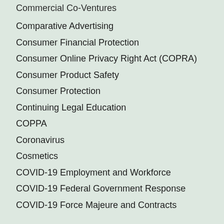Commercial Co-Ventures
Comparative Advertising
Consumer Financial Protection
Consumer Online Privacy Right Act (COPRA)
Consumer Product Safety
Consumer Protection
Continuing Legal Education
COPPA
Coronavirus
Cosmetics
COVID-19 Employment and Workforce
COVID-19 Federal Government Response
COVID-19 Force Majeure and Contracts